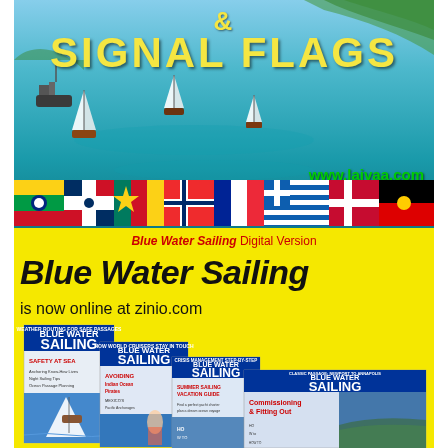[Figure (photo): Aerial photo of blue water with sailboats and green coastline, overlaid with text '& SIGNAL FLAGS' in yellow and 'www.laivaa.com' in green]
[Figure (photo): Strip of international flags (national flags including Dominican Republic, Cameroon, Norway, France, Greece, Denmark and others)]
Blue Water Sailing Digital Version
Blue Water Sailing
is now online at zinio.com
[Figure (photo): Four overlapping Blue Water Sailing magazine covers showing various sailing topics: Safety at Sea, Avoiding Ocean Pirates, Summer Sailing Vacation Guide, Commissioning & Fitting Out]